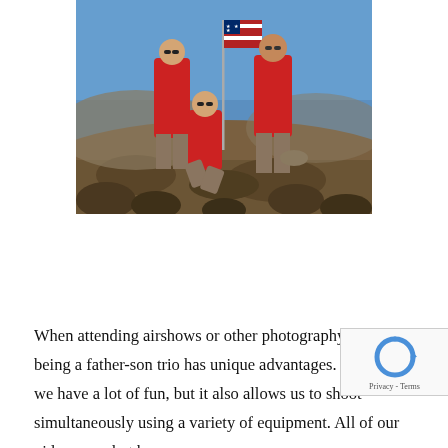[Figure (photo): Three people wearing red t-shirts posing outdoors on rocky terrain with an American flag. Two stand in the back and one crouches in front. Desert landscape and blue sky in the background.]
When attending airshows or other photography events, being a father-son trio has unique advantages. Not only do we have a lot of fun, but it also allows us to shoot simultaneously using a variety of equipment. All of our videos are shot by